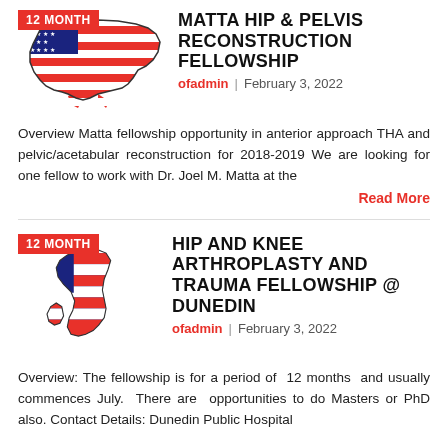[Figure (illustration): USA flag shaped as map of United States with '12 MONTH' red badge]
MATTA HIP & PELVIS RECONSTRUCTION FELLOWSHIP
ofadmin | February 3, 2022
Overview Matta fellowship opportunity in anterior approach THA and pelvic/acetabular reconstruction for 2018-2019 We are looking for one fellow to work with Dr. Joel M. Matta at the
Read More
[Figure (illustration): New Zealand map shaped with USA flag colors with '12 MONTH' red badge]
HIP AND KNEE ARTHROPLASTY AND TRAUMA FELLOWSHIP @ DUNEDIN
ofadmin | February 3, 2022
Overview: The fellowship is for a period of 12 months and usually commences July. There are opportunities to do Masters or PhD also. Contact Details: Dunedin Public Hospital